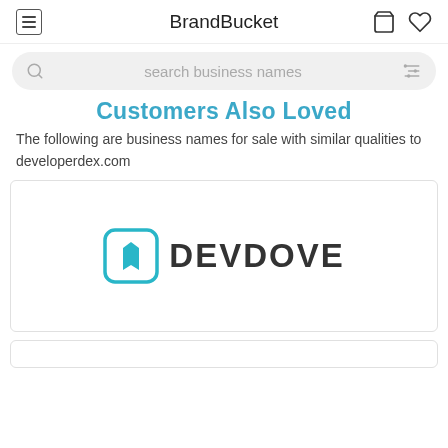BrandBucket
search business names
Customers Also Loved
The following are business names for sale with similar qualities to developerdex.com
[Figure (logo): DEVDOVE brand logo with a teal rounded square icon featuring a bookmark/ribbon symbol and bold uppercase text DEVDOVE]